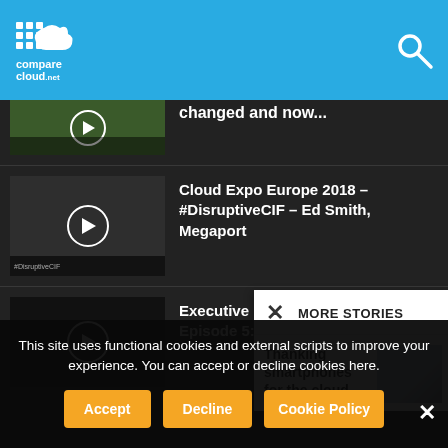comparecloud.net
changed and now...
Cloud Expo Europe 2018 – #DisruptiveCIF – Ed Smith, Megaport
Executive Education Episode 5: Creating
MORE STORIES
Thanking smartphones for the cloud
This site uses functional cookies and external scripts to improve your experience. You can accept or decline cookies here.